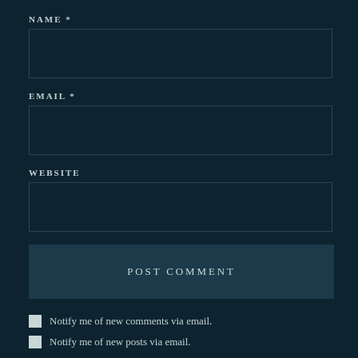NAME *
[Figure (screenshot): Empty text input field for Name]
EMAIL *
[Figure (screenshot): Empty text input field for Email]
WEBSITE
[Figure (screenshot): Empty text input field for Website]
POST COMMENT
Notify me of new comments via email.
Notify me of new posts via email.